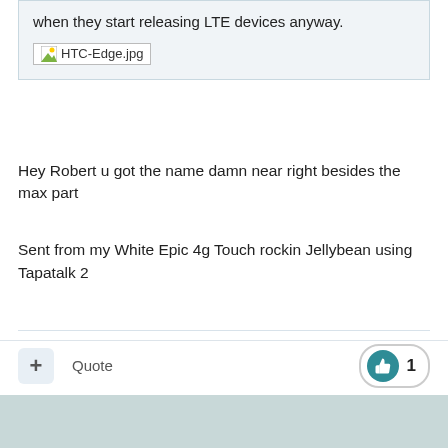when they start releasing LTE devices anyway.
[Figure (photo): Broken image placeholder labeled HTC-Edge.jpg]
Hey Robert u got the name damn near right besides the max part
Sent from my White Epic 4g Touch rockin Jellybean using Tapatalk 2
Quote
1
1 month later...